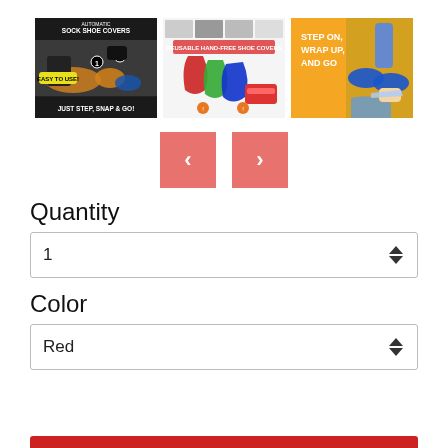[Figure (photo): Three product images showing shoe covers: left image shows automatic sock shoe covers with 'EASY TO USE!' and 'JUST STEP, SNAP & GO!', middle shows reusable hand-free shoe covers in red, green, and blue, right shows a shoe wrapping product with 'STEP ON, WRAP UP, AND GO' text on orange background.]
[Figure (other): Navigation buttons: left arrow button and right arrow button in salmon/coral color.]
Quantity
1
Color
Red